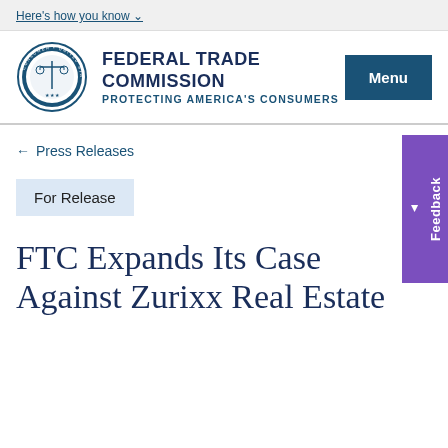Here's how you know
[Figure (logo): Federal Trade Commission official seal/logo circle]
FEDERAL TRADE COMMISSION PROTECTING AMERICA'S CONSUMERS
← Press Releases
For Release
FTC Expands Its Case Against Zurixx Real Estate